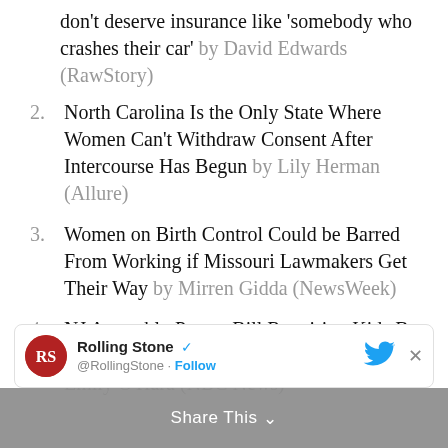don't deserve insurance like 'somebody who crashes their car' by David Edwards (RawStory)
2. North Carolina Is the Only State Where Women Can't Withdraw Consent After Intercourse Has Begun by Lily Herman (Allure)
3. Women on Birth Control Could be Barred From Working if Missouri Lawmakers Get Their Way by Mirren Gidda (NewsWeek)
4. NJ Assembly Passes Bill Requiring Kids Be Taught to Interact With Police by Mary Emily O'Hara (NBC News)
[Figure (screenshot): Rolling Stone Twitter follow card with RS logo, @RollingStone handle, Follow button, Twitter bird icon, and close X button. Overlaid with a grey 'Share This' banner.]